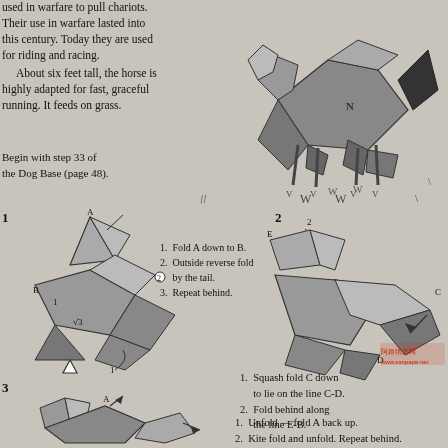used in warfare to pull chariots. Their use in warfare lasted into this century. Today they are used for riding and racing.
    About six feet tall, the horse is highly adapted for fast, graceful running. It feeds on grass.
[Figure (illustration): Origami horse figure completed model, shown standing, made of folded paper with geometric facets, in grayscale.]
Begin with step 33 of the Dog Base (page 48).
[Figure (illustration): Origami step 1 diagram showing folding instructions with labeled points A and B, arrows indicating fold directions, numbered sub-steps 1, 2, 3.]
1. Fold A down to B.
2. Outside reverse fold by the tail.
3. Repeat behind.
[Figure (illustration): Origami step 2 diagram showing folding instructions with labeled points E, B, C, D and numbered arrows.]
1. Squash fold C down to lie on the line C-D.
2. Fold behind along the line E-B.
[Figure (illustration): Origami step 3 diagram showing further folding with labeled point A and arrows.]
1. Unfold — fold A back up.
2. Kite fold and unfold. Repeat behind.